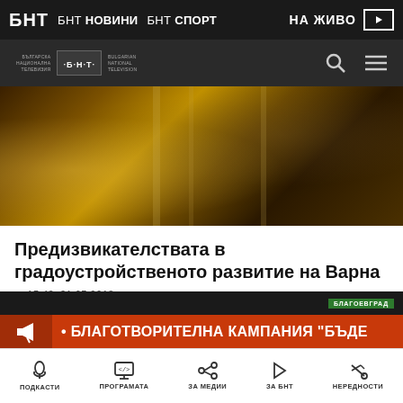БНТ  БНТ НОВИНИ  БНТ СПОРТ  НА ЖИВО
[Figure (logo): БНТ - Българска Национална Телевизия / Bulgarian National Television logo with search and menu icons]
[Figure (photo): Dark amber-toned interior photo, blurred background with warm golden lighting]
Предизвикателствата в градоустройственото развитие на Варна
15:43, 31.05.2018
[Figure (screenshot): News ticker banner: БЛАГОТВОРИТЕЛНА КАМПАНИЯ "БЪДЕ..." with Благоевград badge]
ПОДКАСТИ  ПРОГРАМАТА  ЗА МЕДИИ  ЗА БНТ  НЕРЕДНОСТИ